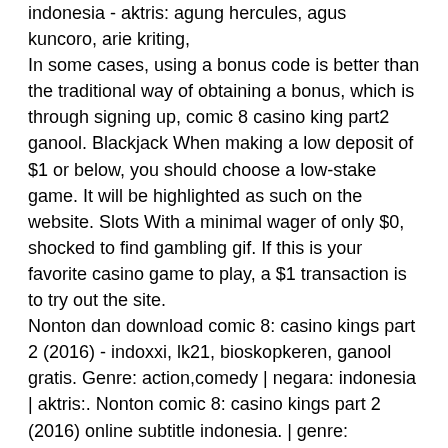indonesia - aktris: agung hercules, agus kuncoro, arie kriting, In some cases, using a bonus code is better than the traditional way of obtaining a bonus, which is through signing up, comic 8 casino king part2 ganool. Blackjack When making a low deposit of $1 or below, you should choose a low-stake game. It will be highlighted as such on the website. Slots With a minimal wager of only $0, shocked to find gambling gif. If this is your favorite casino game to play, a $1 transaction is to try out the site. Nonton dan download comic 8: casino kings part 2 (2016) - indoxxi, lk21, bioskopkeren, ganool gratis. Genre: action,comedy | negara: indonesia | aktris:. Nonton comic 8: casino kings part 2 (2016) online subtitle indonesia. | genre: action,comedy | sutradara: anggy umbara | pemain: ernest prakasa,. Comic